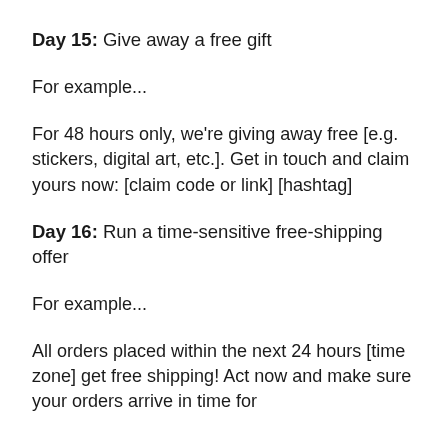Day 15: Give away a free gift
For example...
For 48 hours only, we're giving away free [e.g. stickers, digital art, etc.]. Get in touch and claim yours now: [claim code or link] [hashtag]
Day 16: Run a time-sensitive free-shipping offer
For example...
All orders placed within the next 24 hours [time zone] get free shipping! Act now and make sure your orders arrive in time for